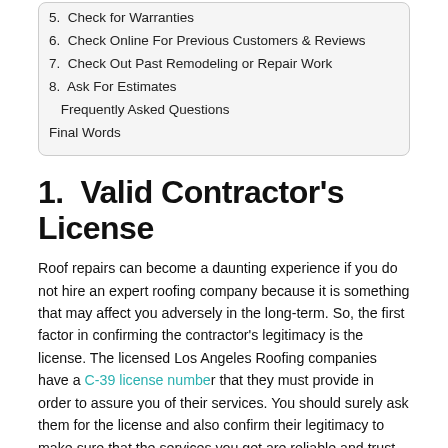5. Check for Warranties
6. Check Online For Previous Customers & Reviews
7. Check Out Past Remodeling or Repair Work
8. Ask For Estimates
Frequently Asked Questions
Final Words
1.  Valid Contractor's License
Roof repairs can become a daunting experience if you do not hire an expert roofing company because it is something that may affect you adversely in the long-term. So, the first factor in confirming the contractor's legitimacy is the license. The licensed Los Angeles Roofing companies have a C-39 license number that they must provide in order to assure you of their services. You should surely ask them for the license and also confirm their legitimacy to make sure that the services you get are reliable and trust-worthy.